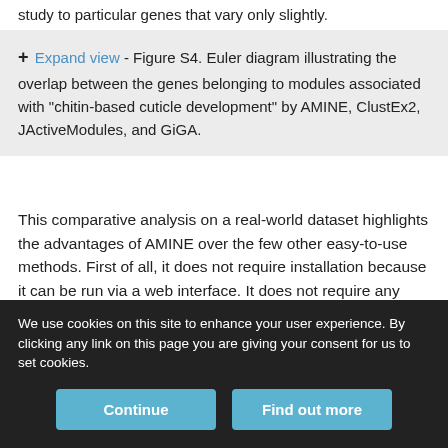study to particular genes that vary only slightly.
+ Expand view - Figure S4. Euler diagram illustrating the overlap between the genes belonging to modules associated with "chitin-based cuticle development" by AMINE, ClustEx2, JActiveModules, and GiGA.
This comparative analysis on a real-world dataset highlights the advantages of AMINE over the few other easy-to-use methods. First of all, it does not require installation because it can be run via a web interface. It does not require any special formatting of the input data because it is sufficient to provide tabulated or Excel files generated by differential analysis pipelines. The use of AMINE is particularly simple because no parameters are required, unlike the other four
We use cookies on this site to enhance your user experience. By clicking any link on this page you are giving your consent for us to set cookies.